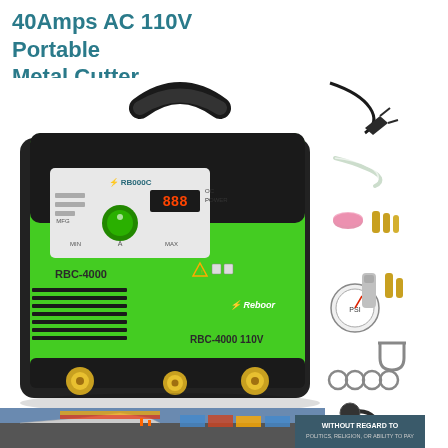40Amps AC 110V Portable Metal Cutter
[Figure (photo): A green and black portable plasma cutter machine (RBC-4000) with digital display, control knobs, and carrying handle, shown alongside accessories including ground clamp with cable, air hose, ceramic cup/nozzle tips, air regulator with gauge, metal clips/clamps, and a torch. Bottom portion shows a background scene of aircraft on tarmac with cargo containers, and a dark teal banner reading 'WITHOUT REGARD TO POLITICS, RELIGION, OR ABILITY TO PAY'.]